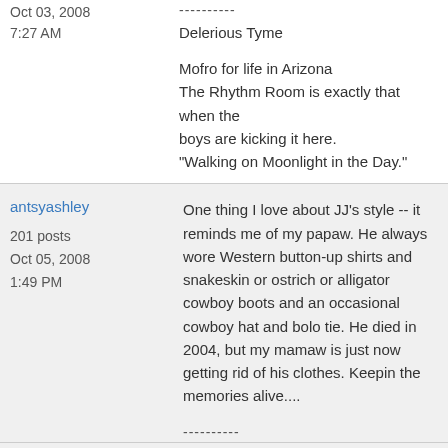Oct 03, 2008
7:27 AM
----------
Delerious Tyme

Mofro for life in Arizona
The Rhythm Room is exactly that when the boys are kicking it here.
"Walking on Moonlight in the Day."
antsyashley
201 posts
Oct 05, 2008
1:49 PM
One thing I love about JJ's style -- it reminds me of my papaw. He always wore Western button-up shirts and snakeskin or ostrich or alligator cowboy boots and an occasional cowboy hat and bolo tie. He died in 2004, but my mamaw is just now getting rid of his clothes. Keepin the memories alive....

----------

No words can say....